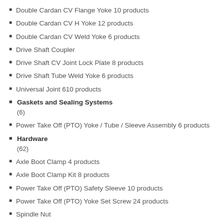Double Cardan CV Flange Yoke 10 products
Double Cardan CV H Yoke 12 products
Double Cardan CV Weld Yoke 6 products
Drive Shaft Coupler
Drive Shaft CV Joint Lock Plate 8 products
Drive Shaft Tube Weld Yoke 6 products
Universal Joint 610 products
Gaskets and Sealing Systems (6)
Power Take Off (PTO) Yoke / Tube / Sleeve Assembly 6 products
Hardware (62)
Axle Boot Clamp 4 products
Axle Boot Clamp Kit 8 products
Power Take Off (PTO) Safety Sleeve 10 products
Power Take Off (PTO) Yoke Set Screw 24 products
Spindle Nut